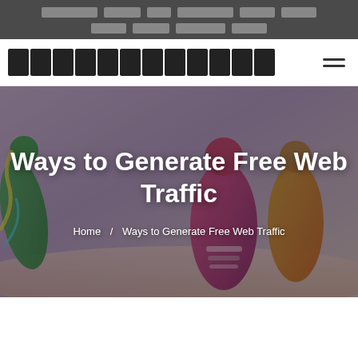[navigation menu items - redacted/encoded text]
[site logo - encoded text]
[Figure (photo): Hero banner image showing colorful illustrated athletes/dancers with purple and pink tones, overlaid with the page title 'Ways to Generate Free Web Traffic' and breadcrumb navigation]
Ways to Generate Free Web Traffic
Home / Ways to Generate Free Web Traffic